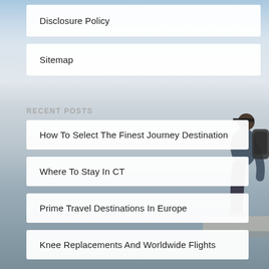Disclosure Policy
Sitemap
RECENT POSTS
How To Select The Finest Journey Destination
Where To Stay In CT
Prime Travel Destinations In Europe
Knee Replacements And Worldwide Flights